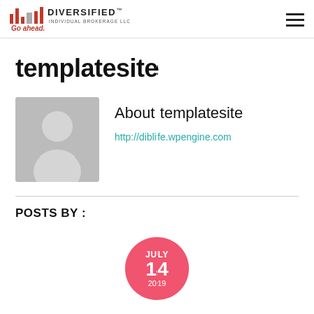[Figure (logo): Diversified Individual Brokerage LLC logo with red bar chart icon and tagline 'Go ahead.']
templatesite
[Figure (photo): Generic user avatar silhouette on grey background]
About templatesite
http://diblife.wpengine.com
POSTS BY :
[Figure (infographic): Pink circular date badge showing JULY 14 2019]